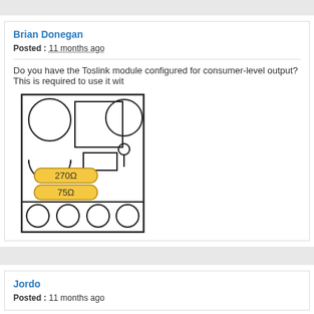Brian Donegan
Posted : 11 months ago
Do you have the Toslink module configured for consumer-level output? This is required to use it wit
[Figure (schematic): Toslink module schematic showing components: two large circles top-left, a rectangle in the center-top, a large circle top-right, a half-circle below top-left area, a small circle with pin, two yellow resistor symbols labeled 270Ω and 75Ω, a small rectangle, and four small circles at the bottom.]
Jordo
Posted : 11 months ago